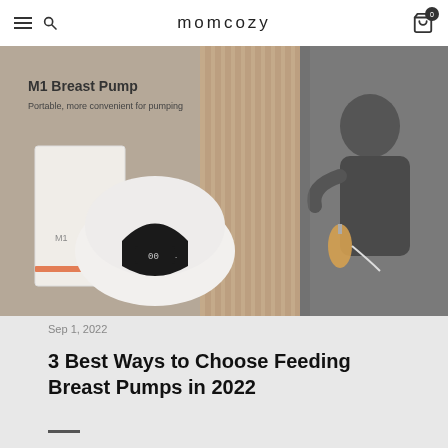momcozy
[Figure (photo): M1 Breast Pump product photo on the left showing a white dome-shaped breast pump device with digital display and its packaging box, with text 'M1 Breast Pump - Portable, more convenient for pumping'. Right side shows a person sitting in a car using a breast pump.]
Sep 1, 2022
3 Best Ways to Choose Feeding Breast Pumps in 2022